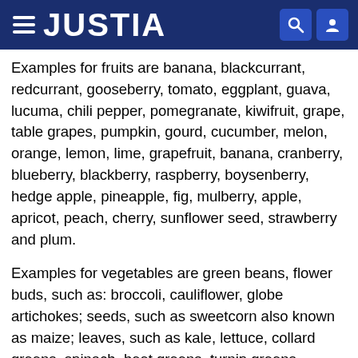JUSTIA
Examples for fruits are banana, blackcurrant, redcurrant, gooseberry, tomato, eggplant, guava, lucuma, chili pepper, pomegranate, kiwifruit, grape, table grapes, pumpkin, gourd, cucumber, melon, orange, lemon, lime, grapefruit, banana, cranberry, blueberry, blackberry, raspberry, boysenberry, hedge apple, pineapple, fig, mulberry, apple, apricot, peach, cherry, sunflower seed, strawberry and plum.
Examples for vegetables are green beans, flower buds, such as: broccoli, cauliflower, globe artichokes; seeds, such as sweetcorn also known as maize; leaves, such as kale, lettuce, collard greens, spinach, beet greens, turnip greens, endive; leaf sheaths, such as leeks; buds, such as Brussels sprouts; stems of leaves, such as celery, rhubarb; stem of a plant when it is still a young shoot, such as asparagus, ginger; underground stem of a plant,